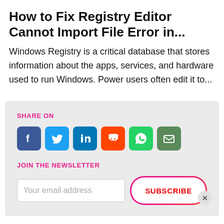How to Fix Registry Editor Cannot Import File Error in...
Windows Registry is a critical database that stores information about the apps, services, and hardware used to run Windows. Power users often edit it to...
SHARE ON
[Figure (infographic): Row of 6 social media share icons: Facebook (blue), Twitter (light blue), LinkedIn (dark blue), Reddit (orange), WhatsApp (green), Email (dark green)]
JOIN THE NEWSLETTER
Your email address
SUBSCRIBE